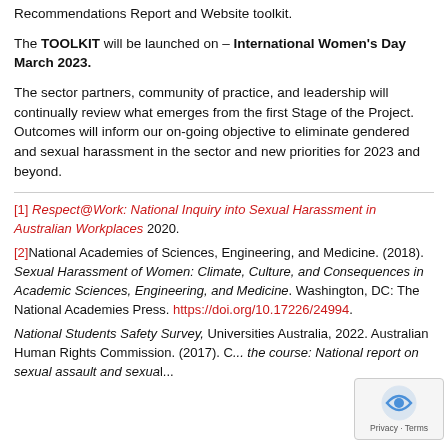Recommendations Report and Website toolkit.
The TOOLKIT will be launched on – International Women's Day March 2023.
The sector partners, community of practice, and leadership will continually review what emerges from the first Stage of the Project. Outcomes will inform our on-going objective to eliminate gendered and sexual harassment in the sector and new priorities for 2023 and beyond.
[1] Respect@Work: National Inquiry into Sexual Harassment in Australian Workplaces 2020.
[2]National Academies of Sciences, Engineering, and Medicine. (2018). Sexual Harassment of Women: Climate, Culture, and Consequences in Academic Sciences, Engineering, and Medicine. Washington, DC: The National Academies Press. https://doi.org/10.17226/24994.
National Students Safety Survey, Universities Australia, 2022. Australian Human Rights Commission. (2017). C... the course: National report on sexual assault and sexual...